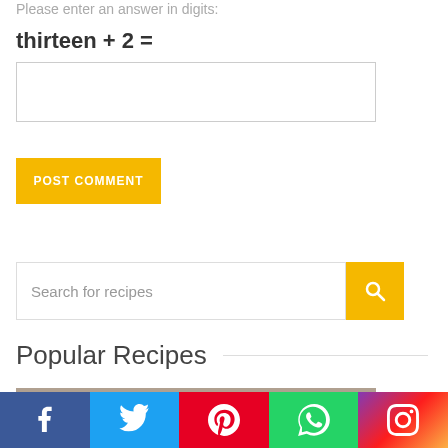Please enter an answer in digits:
[input field]
POST COMMENT
Search for recipes
Popular Recipes
[Figure (photo): Recipe food photo thumbnail at bottom]
[Figure (infographic): Social media share bar with Facebook, Twitter, Pinterest, WhatsApp, Instagram icons]